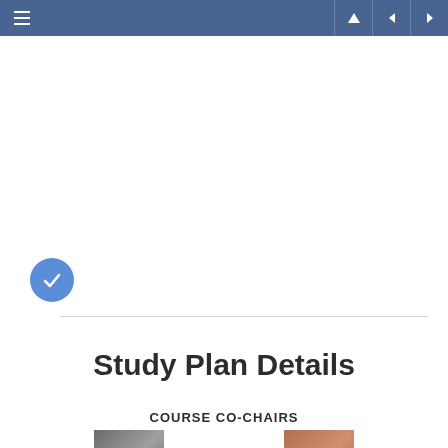Navigation bar with menu and navigation controls
[Figure (other): Blue circular checkmark icon indicating completion or confirmation]
Study Plan Details
COURSE CO-CHAIRS
[Figure (photo): Two portrait photos of course co-chairs, partially visible at bottom of page]